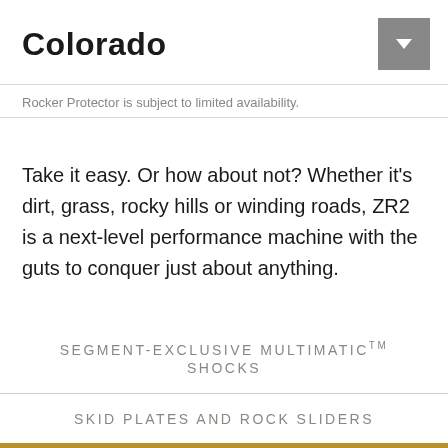Colorado
Rocker Protector is subject to limited availability.
Take it easy. Or how about not? Whether it's dirt, grass, rocky hills or winding roads, ZR2 is a next-level performance machine with the guts to conquer just about anything.
SEGMENT-EXCLUSIVE MULTIMATIC™ SHOCKS
SKID PLATES AND ROCK SLIDERS
UP TO 48 MM FACTORY-INSTALLED LIFT